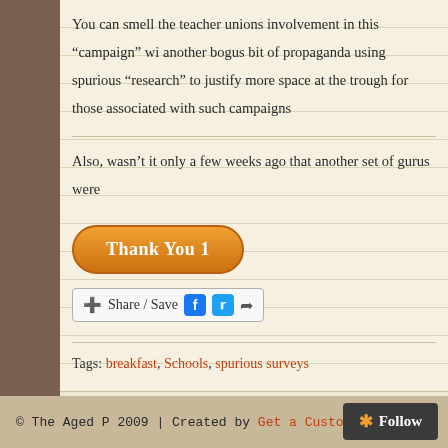You can smell the teacher unions involvement in this “campaign” wi another bogus bit of propaganda using spurious “research” to justify more space at the trough for those associated with such campaigns
Also, wasn’t it only a few weeks ago that another set of gurus were
[Figure (other): Orange rounded button labeled 'Thank You 1']
[Figure (other): Share/Save bar with Facebook and Twitter icons]
Tags: breakfast, Schools, spurious surveys
posted by david in Education, Food & Drink and have Comments Off on Claims Spurious “Survey”
© The Aged P 2009 | Created by Get a Custom Design.